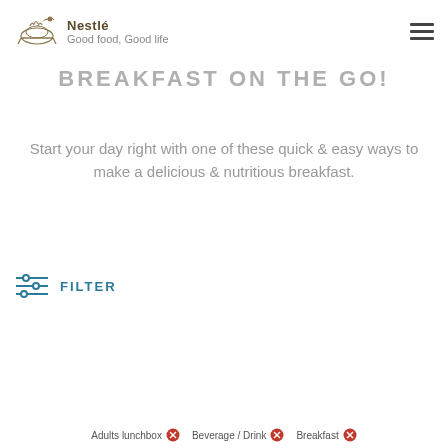Nestlé Good food, Good life
BREAKFAST ON THE GO!
Start your day right with one of these quick & easy ways to make a delicious & nutritious breakfast.
FILTER
Adults lunchbox ✕  Beverage / Drink ✕  Breakfast ✕